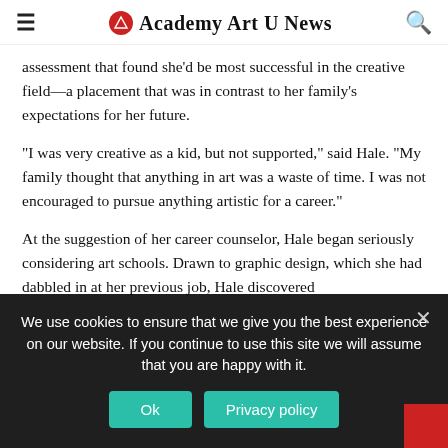Academy Art U News
assessment that found she'd be most successful in the creative field—a placement that was in contrast to her family's expectations for her future.
"I was very creative as a kid, but not supported," said Hale. "My family thought that anything in art was a waste of time. I was not encouraged to pursue anything artistic for a career."
At the suggestion of her career counselor, Hale began seriously considering art schools. Drawn to graphic design, which she had dabbled in at her previous job, Hale discovered
We use cookies to ensure that we give you the best experience on our website. If you continue to use this site we will assume that you are happy with it.